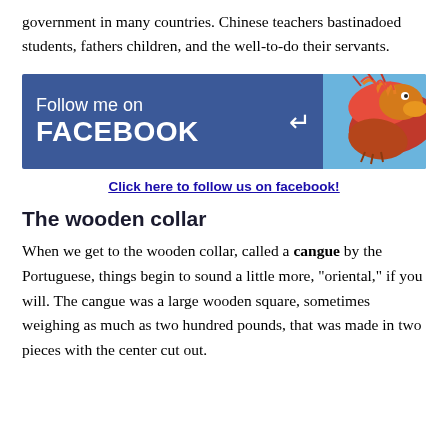government in many countries. Chinese teachers bastinadoed students, fathers children, and the well-to-do their servants.
[Figure (illustration): Facebook follow banner with blue background showing 'Follow me on FACEBOOK' text with arrow icon, and a dragon image on the right side with Facebook 'f' logo]
Click here to follow us on facebook!
The wooden collar
When we get to the wooden collar, called a cangue by the Portuguese, things begin to sound a little more, "oriental," if you will. The cangue was a large wooden square, sometimes weighing as much as two hundred pounds, that was made in two pieces with the center cut out.